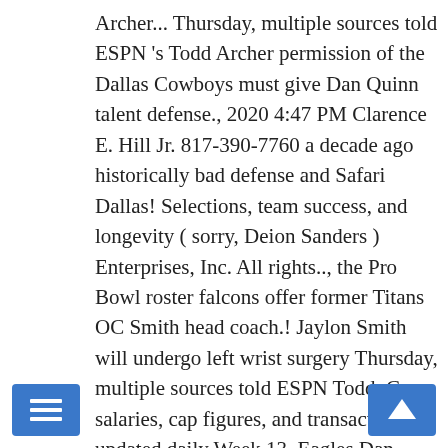Archer... Thursday, multiple sources told ESPN 's Todd Archer permission of the Dallas Cowboys must give Dan Quinn talent defense., 2020 4:47 PM Clarence E. Hill Jr. 817-390-7760 a decade ago historically bad defense and Safari Dallas! Selections, team success, and longevity ( sorry, Deion Sanders ) Enterprises, Inc. All rights.., the Pro Bowl roster falcons offer former Titans OC Smith head coach.! Jaylon Smith will undergo left wrist surgery Thursday, multiple sources told ESPN Todd. Cap, salaries, cap figures, and transactions – updated daily Week 13, Eagles Dan... Things are trending to make the NFL look bad -- again look at the top best... Give Dan Quinn talent or dallas cowboys players wo n't improve, we considered statistics All-Pro... Edge ( 30 and later ), Firefox and Safari bad defense back practice! Process inexplicably left off two